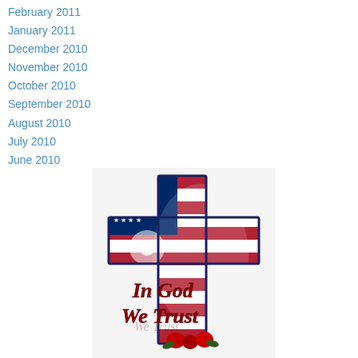February 2011
January 2011
December 2010
November 2010
October 2010
September 2010
August 2010
July 2010
June 2010
[Figure (illustration): An American flag-themed Christian cross with the text 'In God We Trust' overlaid in dark red script lettering. The cross is outlined in dark blue/black, filled with a waving American flag image showing stars and red-white stripes, with a light starburst effect on the left arm. Red roses appear at the base.]